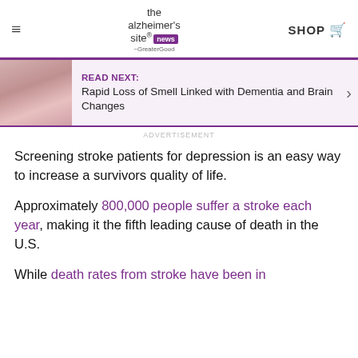≡  the alzheimer's site news ~GreaterGood  SHOP 🛒
[Figure (screenshot): READ NEXT banner with image of woman with flowers. Text: READ NEXT: Rapid Loss of Smell Linked with Dementia and Brain Changes]
ADVERTISEMENT
Screening stroke patients for depression is an easy way to increase a survivors quality of life.
Approximately 800,000 people suffer a stroke each year, making it the fifth leading cause of death in the U.S.
While death rates from stroke have been in